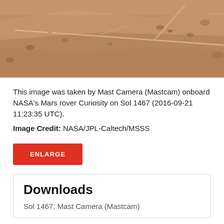[Figure (photo): Close-up photograph of Mars surface taken by Curiosity rover's Mast Camera, showing reddish-brown rocky terrain with cracks and small pebbles.]
This image was taken by Mast Camera (Mastcam) onboard NASA's Mars rover Curiosity on Sol 1467 (2016-09-21 11:23:35 UTC).
Image Credit: NASA/JPL-Caltech/MSSS
ENLARGE
Downloads
Sol 1467: Mast Camera (Mastcam)